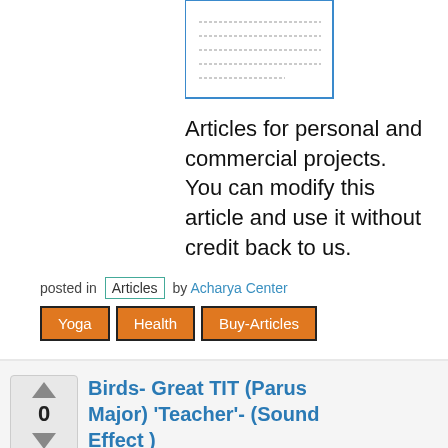[Figure (illustration): Small document/page thumbnail icon showing lined text content]
Articles for personal and commercial projects. You can modify this article and use it without credit back to us.
posted in Articles by Acharya Center
Yoga  Health  Buy-Articles
Birds- Great TIT (Parus Major) 'Teacher'- (Sound Effect )
0 comments
[Figure (illustration): Musical notes illustration - wavy staff with notes]
5.8k views